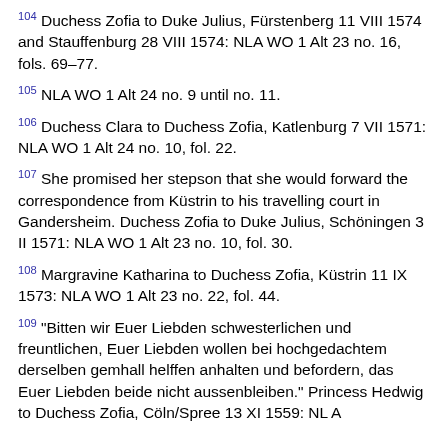104 Duchess Zofia to Duke Julius, Fürstenberg 11 VIII 1574 and Stauffenburg 28 VIII 1574: NLA WO 1 Alt 23 no. 16, fols. 69–77.
105 NLA WO 1 Alt 24 no. 9 until no. 11.
106 Duchess Clara to Duchess Zofia, Katlenburg 7 VII 1571: NLA WO 1 Alt 24 no. 10, fol. 22.
107 She promised her stepson that she would forward the correspondence from Küstrin to his travelling court in Gandersheim. Duchess Zofia to Duke Julius, Schöningen 3 II 1571: NLA WO 1 Alt 23 no. 10, fol. 30.
108 Margravine Katharina to Duchess Zofia, Küstrin 11 IX 1573: NLA WO 1 Alt 23 no. 22, fol. 44.
109 "Bitten wir Euer Liebden schwesterlichen und freuntlichen, Euer Liebden wollen bei hochgedachtem derselben gemhall helffen anhalten und befordern, das Euer Liebden beide nicht aussenbleiben." Princess Hedwig to Duchess Zofia, Cöln/Spree 13 XI 1559: NLA